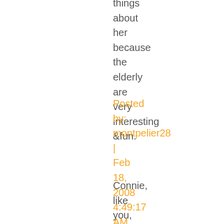things about her because the elderly are very interesting &fun.
Posted by: montpelier28 | Feb 18, 2008 4:49:17 AM
Connie, like you, I